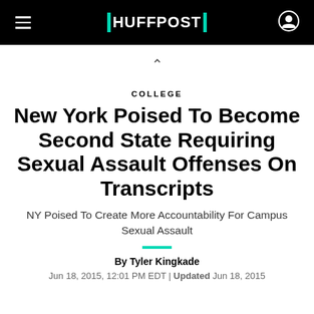HUFFPOST
COLLEGE
New York Poised To Become Second State Requiring Sexual Assault Offenses On Transcripts
NY Poised To Create More Accountability For Campus Sexual Assault
By Tyler Kingkade
Jun 18, 2015, 12:01 PM EDT | Updated Jun 18, 2015